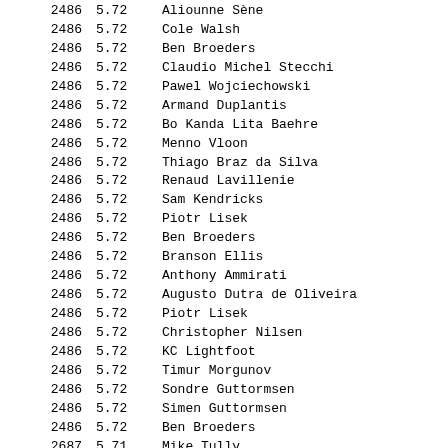| Rank | Score | Name |
| --- | --- | --- |
| 2486 | 5.72 | Aliounne Sène |
| 2486 | 5.72 | Cole Walsh |
| 2486 | 5.72 | Ben Broeders |
| 2486 | 5.72 | Claudio Michel Stecchi |
| 2486 | 5.72 | Pawel Wojciechowski |
| 2486 | 5.72 | Armand Duplantis |
| 2486 | 5.72 | Bo Kanda Lita Baehre |
| 2486 | 5.72 | Menno Vloon |
| 2486 | 5.72 | Thiago Braz da Silva |
| 2486 | 5.72 | Renaud Lavillenie |
| 2486 | 5.72 | Sam Kendricks |
| 2486 | 5.72 | Piotr Lisek |
| 2486 | 5.72 | Ben Broeders |
| 2486 | 5.72 | Branson Ellis |
| 2486 | 5.72 | Anthony Ammirati |
| 2486 | 5.72 | Augusto Dutra de Oliveira |
| 2486 | 5.72 | Piotr Lisek |
| 2486 | 5.72 | Christopher Nilsen |
| 2486 | 5.72 | KC Lightfoot |
| 2486 | 5.72 | Timur Morgunov |
| 2486 | 5.72 | Sondre Guttormsen |
| 2486 | 5.72 | Simen Guttormsen |
| 2486 | 5.72 | Ben Broeders |
| 2687 | 5.71 | Mike Tully |
| 2687 | 5.71 | Konstantin Volkov |
| 2687 | 5.71 | Thierry Vigneron |
| 2687 | 5.71 | Billy Olson |
| 2687 | 5.71A | Larry Jessee |
| 2687 | 5.71 | Thierry Vigneron |
| 2687 | 5.71 | Felix Böhni |